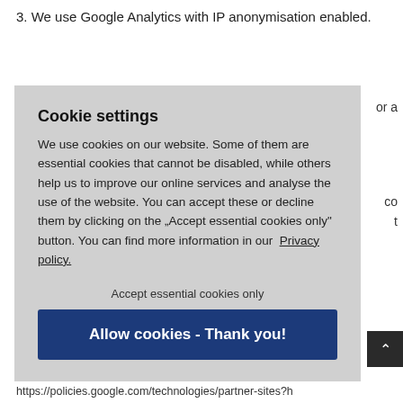3. We use Google Analytics with IP anonymisation enabled.
[Figure (screenshot): Cookie settings overlay dialog with title 'Cookie settings', body text about cookies, 'Accept essential cookies only' text button, and 'Allow cookies - Thank you!' blue button, with partially visible background text on the right side]
https://policies.google.com/technologies/partner-sites?h